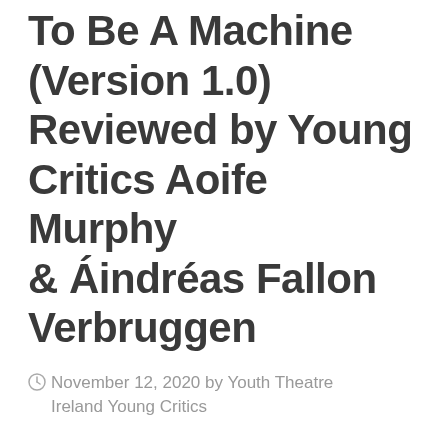To Be A Machine (Version 1.0) Reviewed by Young Critics Aoife Murphy & Áindréas Fallon Verbruggen
November 12, 2020 by Youth Theatre Ireland Young Critics
As the dust settles on this year's Dublin Theatre Festival, two of our Young Critics give us their